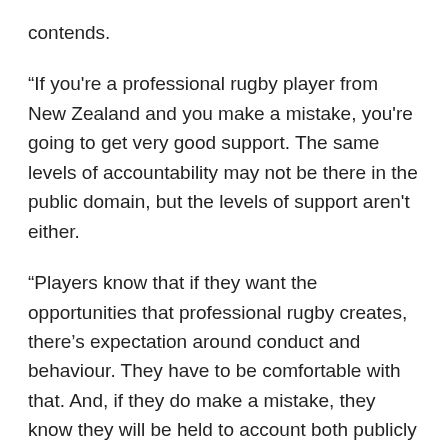contends.
“If you're a professional rugby player from New Zealand and you make a mistake, you're going to get very good support. The same levels of accountability may not be there in the public domain, but the levels of support aren't either.
“Players know that if they want the opportunities that professional rugby creates, there’s expectation around conduct and behaviour. They have to be comfortable with that. And, if they do make a mistake, they know they will be held to account both publicly and within the rugby community.”
Ultimately, the public eye amplifies such incidences. We can blame the players, we can blame ‘the media’ (or the public demand it feeds), but what we can’t do is ever guess at the